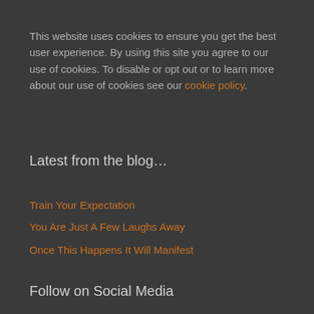This website uses cookies to ensure you get the best user experience. By using this site you agree to our use of cookies. To disable or opt out or to learn more about our use of cookies see our cookie policy.
Latest from the blog…
Train Your Expectation
You Are Just A Few Laughs Away
Once This Happens It Will Manifest
Follow on Social Media